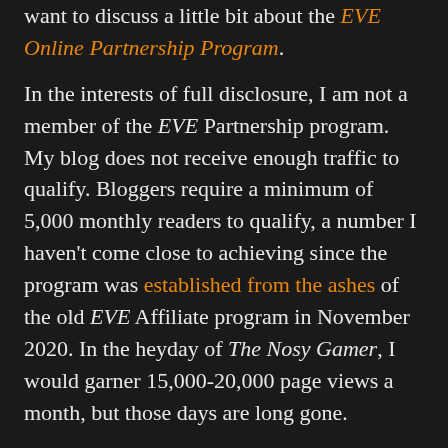want to discuss a little bit about the EVE Online Partnership Program.
In the interests of full disclosure, I am not a member of the EVE Partnership program. My blog does not receive enough traffic to qualify. Bloggers require a minimum of 5,000 monthly readers to qualify, a number I haven't come close to achieving since the program was established from the ashes of the old EVE Affiliate program in November 2020. In the heyday of The Nosy Gamer, I would garner 15,000-20,000 page views a month, but those days are long gone.
I should also add, I was never a member of the EVE Affiliate program either. Back then, I had a concern about tying myself too closely to the company. If I said nice things about CCP or EVE Online, I didn't want people to think the company was paying me for those views. My fellow blogger and long time EVE University director Neville Smit used to laugh at me when we'd meet at Fanfest about my integrity as he walked in with a paid ticket to the event. I'd then laugh at Neville when CCP invariably had a screwup with the badges of the player affiliates. Paying a couple of hundred bucks to ensure I didn't have to wait 8 hours for my badge wasn't that